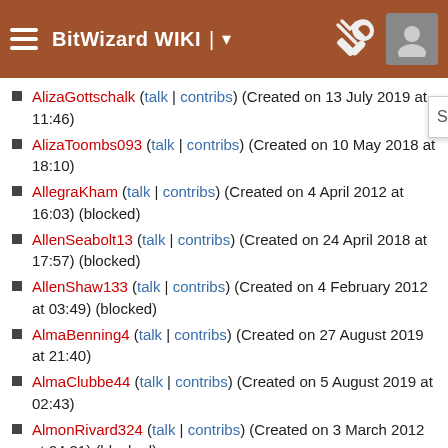BitWizard WIKI
AlizaGottschalk (talk | contribs) (Created on 13 July 2019 at 11:46)
AlizaToombs093 (talk | contribs) (Created on 10 May 2018 at 18:10)
AllegraKham (talk | contribs) (Created on 4 April 2012 at 16:03) (blocked)
AllenSeabolt13 (talk | contribs) (Created on 24 April 2018 at 17:57) (blocked)
AllenShaw133 (talk | contribs) (Created on 4 February 2012 at 03:49) (blocked)
AlmaBenning4 (talk | contribs) (Created on 27 August 2019 at 21:40)
AlmaClubbe44 (talk | contribs) (Created on 5 August 2019 at 02:43)
AlmonRivard324 (talk | contribs) (Created on 3 March 2012 at 04:21) (blocked)
AloisGarcia2 (talk | contribs) (Created on 12 August 2012 at 23:24)